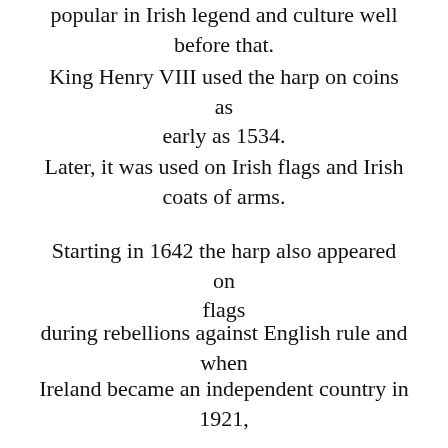popular in Irish legend and culture well before that.
King Henry VIII used the harp on coins as early as 1534.
Later, it was used on Irish flags and Irish coats of arms.
Starting in 1642 the harp also appeared on flags
during rebellions against English rule and when
Ireland became an independent country in 1921,
it adopted the harp as the national symbol